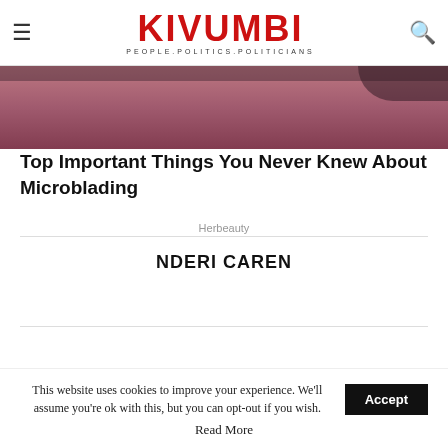KIVUMBI — PEOPLE.POLITICS.POLITICIANS
[Figure (photo): Close-up photo of an eyebrow, pinkish skin tone, showing microblading]
Top Important Things You Never Knew About Microblading
Herbeauty
NDERI CAREN
This website uses cookies to improve your experience. We'll assume you're ok with this, but you can opt-out if you wish. Accept
Read More